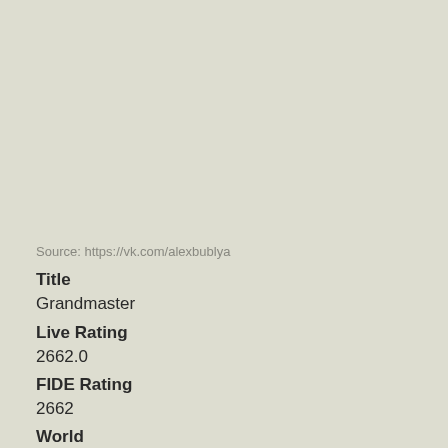Source: https://vk.com/alexbublya
Title
Grandmaster
Live Rating
2662.0
FIDE Rating
2662
World